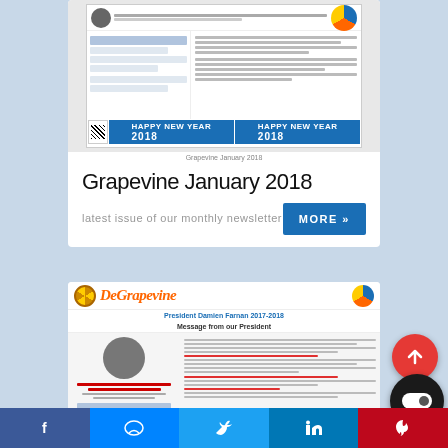[Figure (screenshot): Thumbnail of Grapevine January 2018 newsletter with blue Happy New Year 2018 banners at the bottom]
Grapevine January 2018
Grapevine January 2018
latest issue of our monthly newsletter
[Figure (screenshot): Thumbnail of DeGrapevine newsletter for December 2017 with Rotary logo and colorful header]
f  messenger  twitter  in  pinterest  toggle